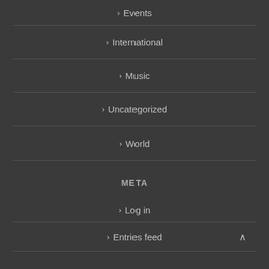> Events
> International
> Music
> Uncategorized
> World
META
> Log in
> Entries feed